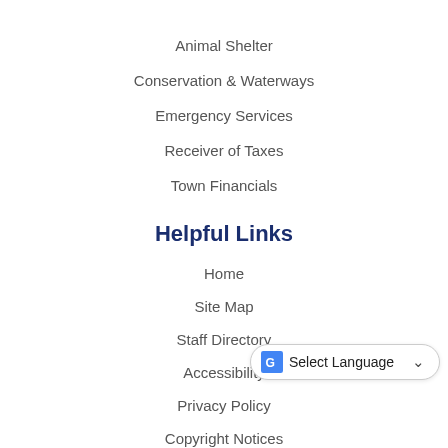Animal Shelter
Conservation & Waterways
Emergency Services
Receiver of Taxes
Town Financials
Helpful Links
Home
Site Map
Staff Directory
Accessibility
Privacy Policy
Copyright Notices